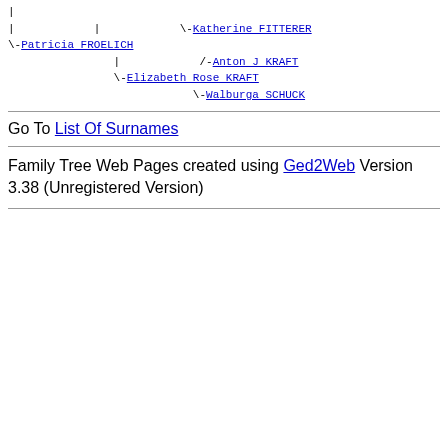[Figure (other): Genealogy family tree ASCII diagram showing relationships: Katherine FITTERER, Patricia FROELICH, Anton J KRAFT, Elizabeth Rose KRAFT, Walburga SCHUCK]
Go To List Of Surnames
Family Tree Web Pages created using Ged2Web Version 3.38 (Unregistered Version)